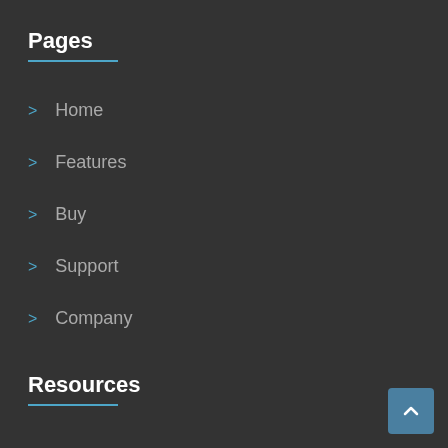Pages
Home
Features
Buy
Support
Company
Resources
Blog
Forum
Help
Privacy Policy